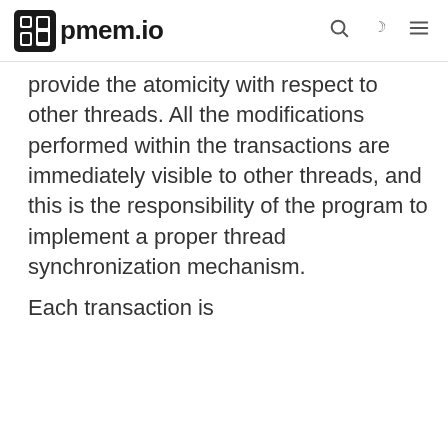pmem.io
provide the atomicity with respect to other threads. All the modifications performed within the transactions are immediately visible to other threads, and this is the responsibility of the program to implement a proper thread synchronization mechanism. Each transaction is
Each transaction is